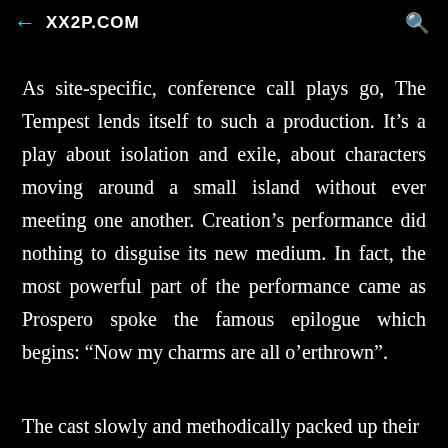← XX2P.COM 🔍
As site-specific, conference call plays go, The Tempest lends itself to such a production. It's a play about isolation and exile, about characters moving around a small island without ever meeting one another. Creation's performance did nothing to disguise its new medium. In fact, the most powerful part of the performance came as Prospero spoke the famous epilogue which begins: “Now my charms are all o’erthrown”.
The cast slowly and methodically packed up their